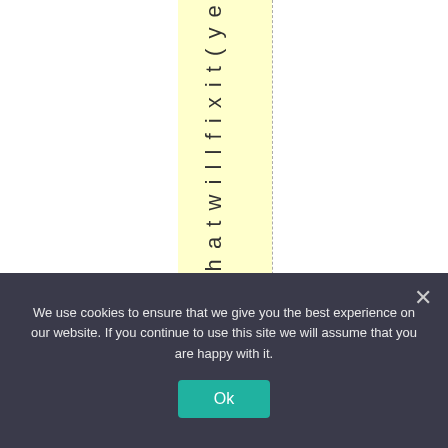d t h a t w i l l f i x i t ( y e s
We use cookies to ensure that we give you the best experience on our website. If you continue to use this site we will assume that you are happy with it.